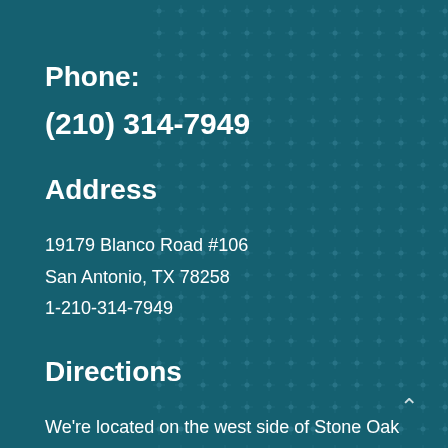Phone:
(210) 314-7949
Address
19179 Blanco Road #106
San Antonio, TX 78258
1-210-314-7949
Directions
We're located on the west side of Stone Oak at the southwest corner of Blanco Road and Huebner. For full